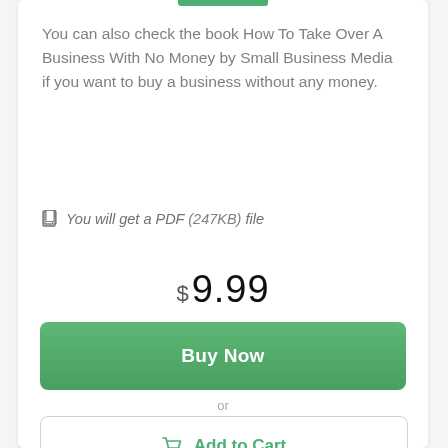You can also check the book How To Take Over A Business With No Money by Small Business Media if you want to buy a business without any money.
You will get a PDF (247KB) file
$ 9.99
Buy Now
or
Add to Cart